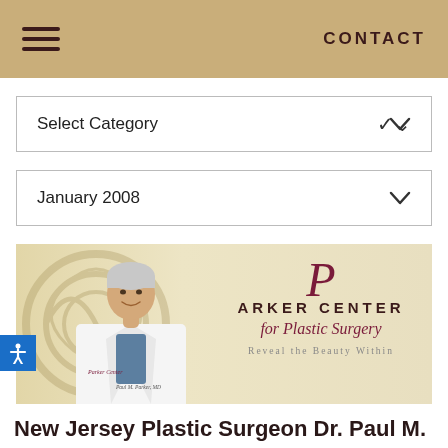CONTACT
Select Category
January 2008
[Figure (photo): Banner image showing a male doctor in white lab coat smiling, with Parker Center for Plastic Surgery logo and tagline 'Reveal the Beauty Within' on a warm beige background with decorative swirl motif]
New Jersey Plastic Surgeon Dr. Paul M.